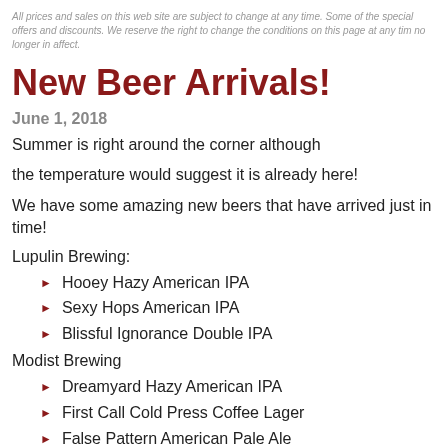All prices and sales on this web site are subject to change at any time. Some of the special offers and discounts. We reserve the right to change the conditions on this page at any time no longer in affect.
New Beer Arrivals!
June 1, 2018
Summer is right around the corner although
the temperature would suggest it is already here!
We have some amazing new beers that have arrived just in time!
Lupulin Brewing:
Hooey Hazy American IPA
Sexy Hops American IPA
Blissful Ignorance Double IPA
Modist Brewing
Dreamyard Hazy American IPA
First Call Cold Press Coffee Lager
False Pattern American Pale Ale